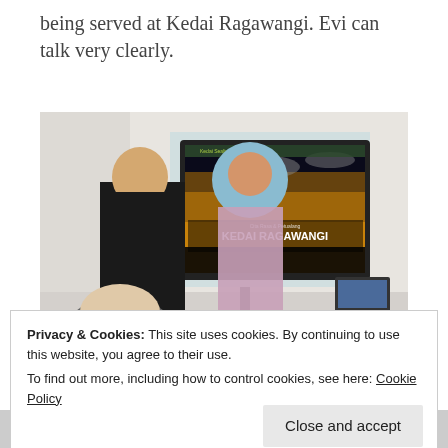being served at Kedai Ragawangi. Evi can talk very clearly.
[Figure (photo): Two people standing in a room presenting a website called KEDAI RAGAWANGI on a large display screen. A person in a black shirt stands next to a person in a blue hijab and floral dress. Audience members are visible in the foreground and a laptop is on a desk to the right.]
Privacy & Cookies: This site uses cookies. By continuing to use this website, you agree to their use.
To find out more, including how to control cookies, see here: Cookie Policy
Close and accept